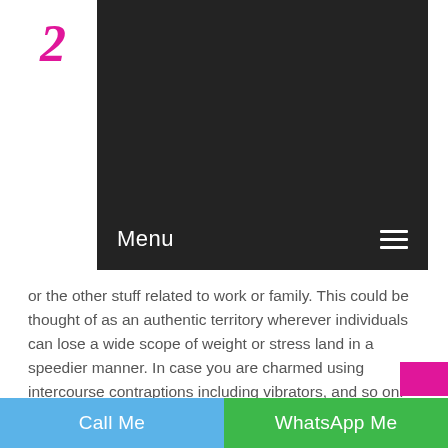[Figure (screenshot): Website header with dark navigation bar showing 'Menu' text and hamburger icon, with pink cursive logo letters visible on left and right sides]
or the other stuff related to work or family. This could be thought of as an authentic territory wherever individuals can lose a wide scope of weight or stress land in a speedier manner. In case you are charmed using intercourse contraptions including vibrators, and so on.
They will help you with expanding most satisfaction with intercourse contraptions displaying you their dependable and submitted amazing body for your sole use. You may besides experience sexy strokes without condoms. Normal masturbation the use of condoms is in like the way one invigorating lovemaking approach gave by using the
Call Me   WhatsApp Me